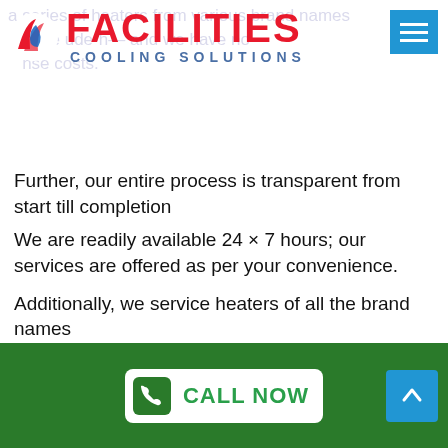[Figure (logo): Facilities Cooling Solutions logo with red FACILITIES text, blue COOLING SOLUTIONS text, and stylized icon]
Further, our entire process is transparent from start till completion
We are readily available 24 × 7 hours; our services are offered as per your convenience.
Additionally, we service heaters of all the brand names
Signs You Required Heating Repair Work In Watsonia Solutions
If you notice any of the given pointed out signs, it is a clear sign that you require heating repair work Watsonia services:
CALL NOW